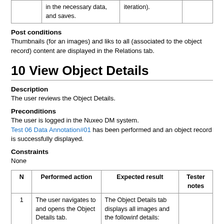|  | Performed action | Expected result | Tester notes |
| --- | --- | --- | --- |
|  | in the necessary data, and saves. | iteration). |  |
10 View Object Details
Description
The user reviews the Object Details.
Preconditions
The user is logged in the Nuxeo DM system.
Test 06 Data Annotation#01 has been performed and an object record is successfully displayed.
Constraints
None
| N | Performed action | Expected result | Tester notes |
| --- | --- | --- | --- |
| 1 | The user navigates to and opens the Object Details tab. | The Object Details tab displays all images and the followinf details: |  |